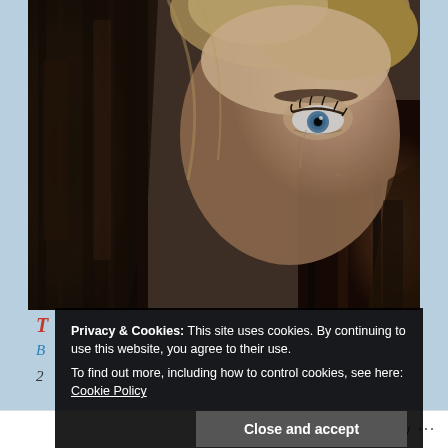[Figure (photo): Close-up portrait of a young woman with blonde hair and blue eyes, partially hidden behind dark tree bark. Moody, dramatic lighting with dark tones.]
T...
B...
2...
Privacy & Cookies: This site uses cookies. By continuing to use this website, you agree to their use.
To find out more, including how to control cookies, see here: Cookie Policy
Close and accept
Follow